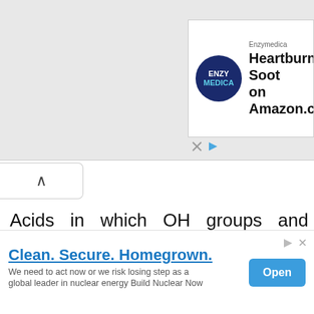[Figure (screenshot): Enzymedica advertisement banner with dark navy circular logo showing 'ENZY MEDICA' text, and headline 'Heartburn Soot on Amazon.com']
Acids in which OH groups and possibly additional oxygen atoms are bound to a central atom are called oxyacids. At first it may seem confusing that the OH group, which we know behaves as a base, is also present in some acids. Let's take a closer look at what factors determine whether a given OH group behaves as a base or as acid.
[Figure (screenshot): Bottom advertisement: 'Clean. Secure. Homegrown.' with subtext 'We need to act now or we risk losing step as a global leader in nuclear energy Build Nuclear Now' and an Open button]